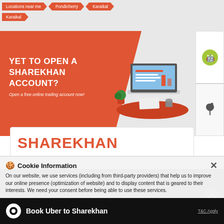Locations near me | Pondicherry | Karaikal | Karaikal
[Figure (infographic): Sharekhan promotional banner: orange background with text 'YET TO OPEN A SHAREKHAN ACCOUNT? Open a free online trading account now!' and laptop illustration with Android and Apple app store buttons]
SHAREKHAN
JAIINDIA ADVISORY
No 23, 2nd Floor, Unicon plaza, Kamaraj Salai
Cookie Information
On our website, we use services (including from third-party providers) that help us to improve our online presence (optimization of website) and to display content that is geared to their interests. We need your consent before being able to use these services.
Closed for the day
Book Uber to Sharekhan
T&C Apply